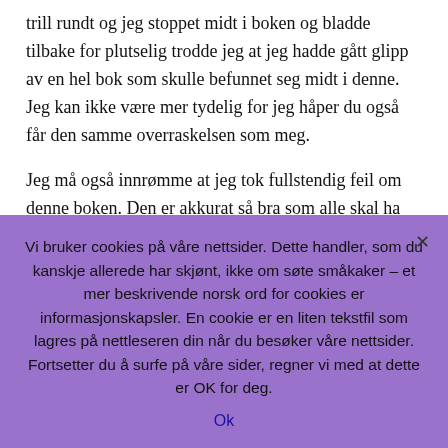trill rundt og jeg stoppet midt i boken og bladde tilbake for plutselig trodde jeg at jeg hadde gått glipp av en hel bok som skulle befunnet seg midt i denne. Jeg kan ikke være mer tydelig for jeg håper du også får den samme overraskelsen som meg.
Jeg må også innrømme at jeg tok fullstendig feil om denne boken. Den er akkurat så bra som alle skal ha det til. Et utrolig mesterverk av en roman! Og en meget verdig avslutting på historien om Harry Hole. Det er faktisk slik at jeg godt kunne tenke meg å gå tilbake og lese hele serien …
Vi bruker cookies på våre nettsider. Dette handler, som du kanskje allerede har skjønt, ikke om søte småkaker – et mer beskrivende norsk ord for cookies er informasjonskapsler. En cookie er en liten tekstfil som lagres på nettleseren din når du besøker våre nettsider. Fortsetter du å surfe på våre sider, regner vi med at dette er OK for deg.
Ok